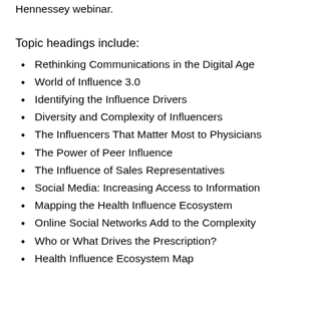Hennessey webinar.
Topic headings include:
Rethinking Communications in the Digital Age
World of Influence 3.0
Identifying the Influence Drivers
Diversity and Complexity of Influencers
The Influencers That Matter Most to Physicians
The Power of Peer Influence
The Influence of Sales Representatives
Social Media: Increasing Access to Information
Mapping the Health Influence Ecosystem
Online Social Networks Add to the Complexity
Who or What Drives the Prescription?
Health Influence Ecosystem Map